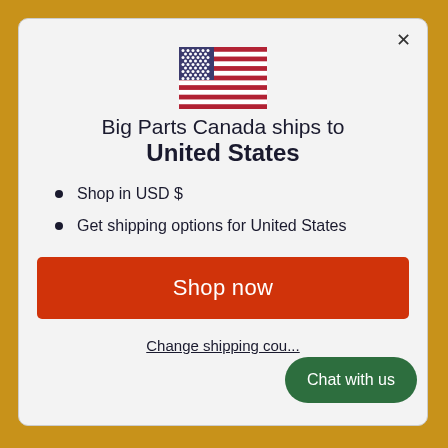[Figure (illustration): American flag emoji/icon centered at top of modal]
Big Parts Canada ships to United States
Shop in USD $
Get shipping options for United States
Shop now
Change shipping cou...
Chat with us